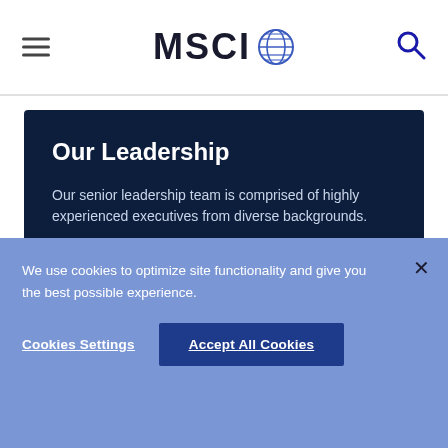MSCI [logo with globe icon] [hamburger menu] [search icon]
Our Leadership
Our senior leadership team is comprised of highly experienced executives from diverse backgrounds.
Learn More
We use cookies to optimize site functionality and give you the best possible experience.
Cookies Settings  Accept All Cookies